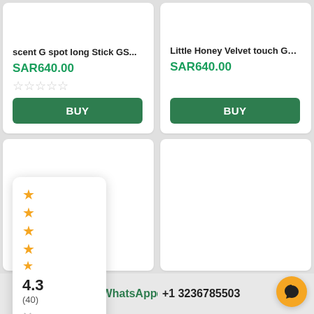scent G spot long Stick GS...
SAR640.00
BUY
Little Honey Velvet touch GS-009
SAR640.00
BUY
[Figure (other): Rating popup overlay showing 4.3 stars (40 reviews) with gold star icons and close button]
WhatsApp +1 3236785503